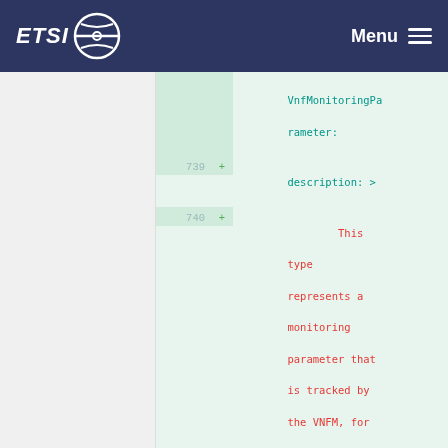ETSI | Menu
VnfMonitoringParameter:
739 + description: >
740 +         This type represents a monitoring parameter that is tracked by the VNFM, for example,
741 +         for auto-scaling purposes. It shall comply with the provisions defined in Table 6.5.3.69-